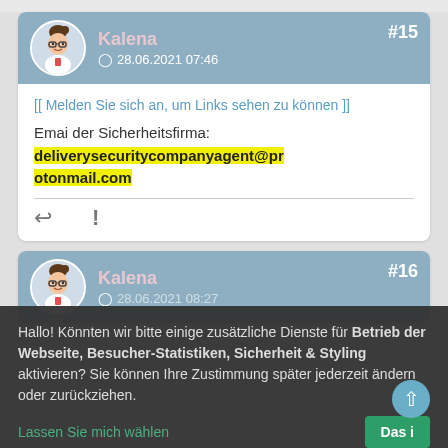[Figure (screenshot): Forum post #15 by Kalena dated 28.06.2021 07:46 with message about login to see links and email address deliverysecuritycompanyagent@protonmail.com highlighted in yellow]
[Figure (screenshot): Forum post #16 by Kalena dated 28.06.2021 08:27, partially visible]
Hallo! Könnten wir bitte einige zusätzliche Dienste für Betrieb der Webseite, Besucher-Statistiken, Sicherheit & Styling aktivieren? Sie können Ihre Zustimmung später jederzeit ändern oder zurückziehen.
Lassen Sie mich wählen
Das i